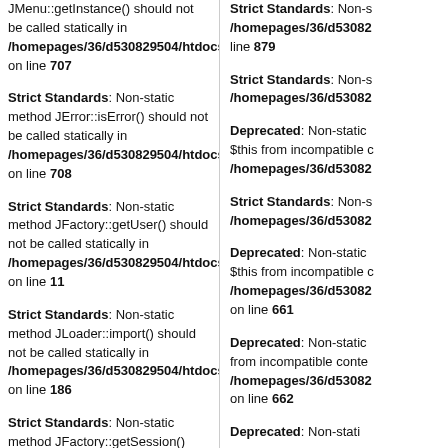JMenu::getInstance() should not be called statically in /homepages/36/d530829504/htdocs/a on line 707
Strict Standards: Non-static method JError::isError() should not be called statically in /homepages/36/d530829504/htdocs/a on line 708
Strict Standards: Non-static method JFactory::getUser() should not be called statically in /homepages/36/d530829504/htdocs/a on line 11
Strict Standards: Non-static method JLoader::import() should not be called statically in /homepages/36/d530829504/htdocs/a on line 186
Strict Standards: Non-static method JFactory::getSession() should not be called statically in /homepages/36/d530829504/htdocs/a on line 163
Strict Standards: Non-s /homepages/36/d53082 line 879
Strict Standards: Non-s /homepages/36/d53082
Deprecated: Non-static $this from incompatible c /homepages/36/d53082
Strict Standards: Non-s /homepages/36/d53082
Deprecated: Non-static $this from incompatible c /homepages/36/d53082 on line 661
Deprecated: Non-static from incompatible conte /homepages/36/d53082 on line 662
Deprecated: Non-stati